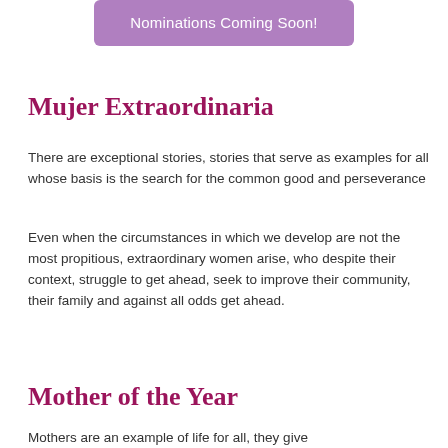[Figure (other): Purple button/banner with text 'Nominations Coming Soon!']
Mujer Extraordinaria
There are exceptional stories, stories that serve as examples for all whose basis is the search for the common good and perseverance
Even when the circumstances in which we develop are not the most propitious, extraordinary women arise, who despite their context, struggle to get ahead, seek to improve their community, their family and against all odds get ahead.
Mother of the Year
Mothers are an example of life for all, they give